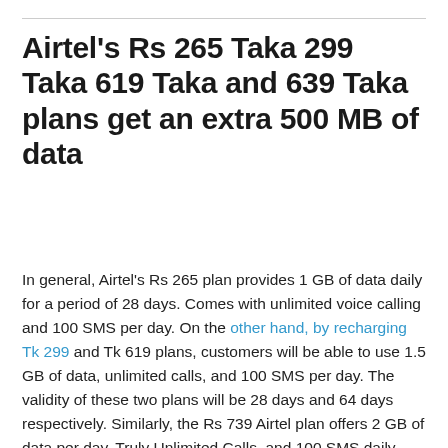Airtel's Rs 265 Taka 299 Taka 619 Taka and 639 Taka plans get an extra 500 MB of data
In general, Airtel's Rs 265 plan provides 1 GB of data daily for a period of 28 days. Comes with unlimited voice calling and 100 SMS per day. On the other hand, by recharging Tk 299 and Tk 619 plans, customers will be able to use 1.5 GB of data, unlimited calls, and 100 SMS per day. The validity of these two plans will be 28 days and 64 days respectively. Similarly, the Rs 739 Airtel plan offers 2 GB of data per day, Truly Unlimited Calls, and 100 SMS daily, with a validity of 74 days.